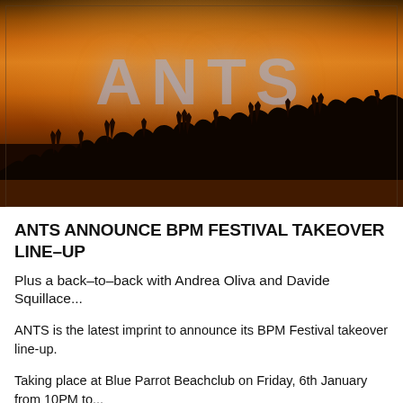[Figure (photo): Concert crowd with hands raised at an ANTS event, with the word ANTS projected in large letters on a screen/backdrop, warm amber/orange stage lighting illuminating the scene]
ANTS ANNOUNCE BPM FESTIVAL TAKEOVER LINE–UP
Plus a back–to–back with Andrea Oliva and Davide Squillace...
ANTS is the latest imprint to announce its BPM Festival takeover line-up.
Taking place at Blue Parrot Beachclub on Friday, 6th January from 10PM to...